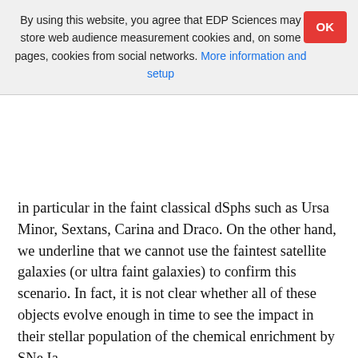By using this website, you agree that EDP Sciences may store web audience measurement cookies and, on some pages, cookies from social networks. More information and setup
in particular in the faint classical dSphs such as Ursa Minor, Sextans, Carina and Draco. On the other hand, we underline that we cannot use the faintest satellite galaxies (or ultra faint galaxies) to confirm this scenario. In fact, it is not clear whether all of these objects evolve enough in time to see the impact in their stellar population of the chemical enrichment by SNe Ia.
6. Conclusions
We present new results for the chemical evolution of the [Mn/Fe] in a relatively faint dSph galaxy, Ursa Minor, with two different prescriptions for SNe Ia.